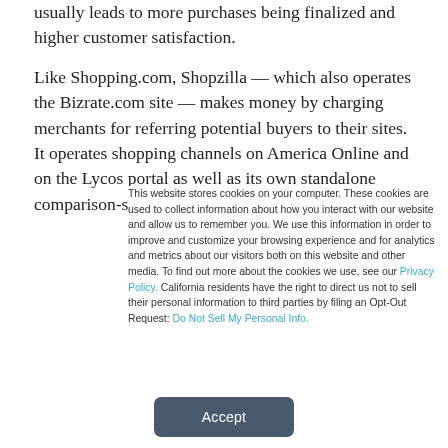usually leads to more purchases being finalized and higher customer satisfaction.
Like Shopping.com, Shopzilla — which also operates the Bizrate.com site — makes money by charging merchants for referring potential buyers to their sites. It operates shopping channels on America Online and on the Lycos portal as well as its own standalone comparison-shopping site.
This website stores cookies on your computer. These cookies are used to collect information about how you interact with our website and allow us to remember you. We use this information in order to improve and customize your browsing experience and for analytics and metrics about our visitors both on this website and other media. To find out more about the cookies we use, see our Privacy Policy. California residents have the right to direct us not to sell their personal information to third parties by filing an Opt-Out Request: Do Not Sell My Personal Info.